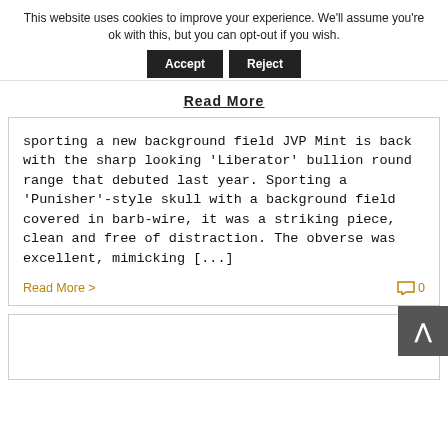This website uses cookies to improve your experience. We'll assume you're ok with this, but you can opt-out if you wish.
Accept | Reject
Read More
sporting a new background field JVP Mint is back with the sharp looking 'Liberator' bullion round range that debuted last year. Sporting a 'Punisher'-style skull with a background field covered in barb-wire, it was a striking piece, clean and free of distraction. The obverse was excellent, mimicking [...]
Read More >
0